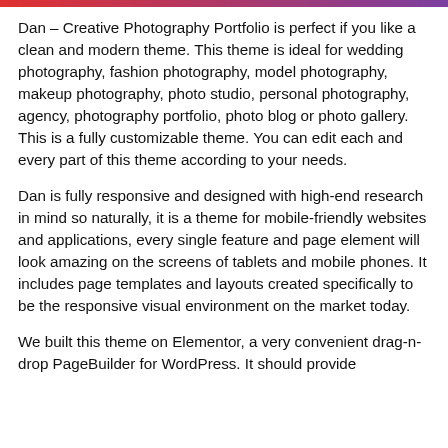Dan – Creative Photography Portfolio is perfect if you like a clean and modern theme. This theme is ideal for wedding photography, fashion photography, model photography, makeup photography, photo studio, personal photography, agency, photography portfolio, photo blog or photo gallery. This is a fully customizable theme. You can edit each and every part of this theme according to your needs.
Dan is fully responsive and designed with high-end research in mind so naturally, it is a theme for mobile-friendly websites and applications, every single feature and page element will look amazing on the screens of tablets and mobile phones. It includes page templates and layouts created specifically to be the responsive visual environment on the market today.
We built this theme on Elementor, a very convenient drag-n-drop PageBuilder for WordPress. It should provide